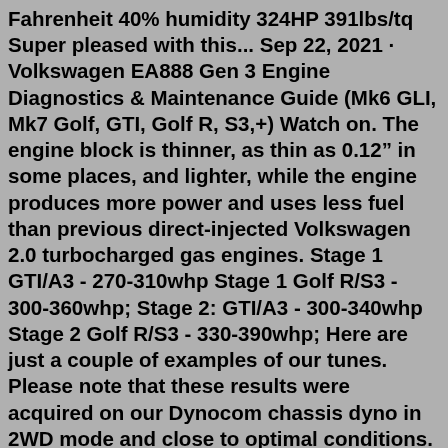Fahrenheit 40% humidity 324HP 391lbs/tq Super pleased with this... Sep 22, 2021 · Volkswagen EA888 Gen 3 Engine Diagnostics & Maintenance Guide (Mk6 GLI, Mk7 Golf, GTI, Golf R, S3,+) Watch on. The engine block is thinner, as thin as 0.12" in some places, and lighter, while the engine produces more power and uses less fuel than previous direct-injected Volkswagen 2.0 turbocharged gas engines. Stage 1 GTI/A3 - 270-310whp Stage 1 Golf R/S3 - 300-360whp; Stage 2: GTI/A3 - 300-340whp Stage 2 Golf R/S3 - 330-390whp; Here are just a couple of examples of our tunes. Please note that these results were acquired on our Dynocom chassis dyno in 2WD mode and close to optimal conditions. Dyno numbers can vary greatly depending on dyno type and ... APR Stage 1 ECU Upgrade. The APR Stage 1 ECU Upgrade is the first step towards making more power! This simple upgrade requires no engine hardware modifications and produces 290-337 HP with 320-375 FT-LBS of torque. Gains as high as 60-115 HP and 51-103 FT-LBS of torque are available throughout the